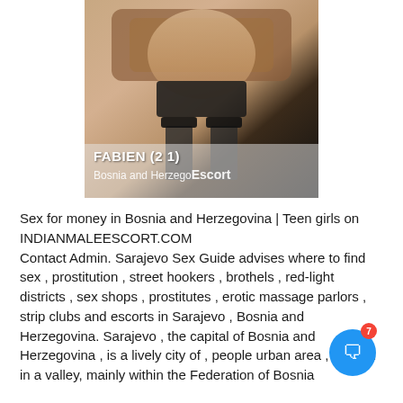[Figure (photo): Photo of a woman in black lingerie on a bed, with overlay text showing name FABIEN (21), location Bosnia and Herzegovina, and watermark Escort]
Sex for money in Bosnia and Herzegovina | Teen girls on INDIANMALEESCORT.COM
Contact Admin. Sarajevo Sex Guide advises where to find sex , prostitution , street hookers , brothels , red-light districts , sex shops , prostitutes , erotic massage parlors , strip clubs and escorts in Sarajevo , Bosnia and Herzegovina. Sarajevo , the capital of Bosnia and Herzegovina , is a lively city of , people urban area , nestled in a valley, mainly within the Federation of Bosnia and Herzegovina, but with the constitution, Republic Srpska